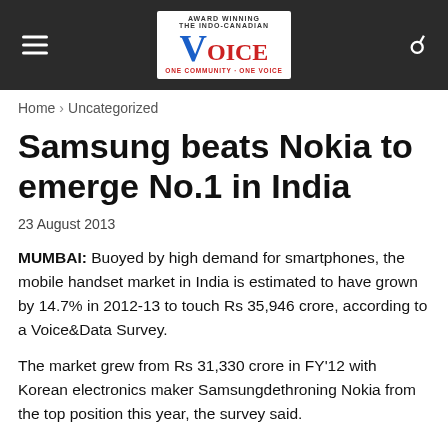Voice - Award Winning The Indo-Canadian Voice - One Community One Voice
Home › Uncategorized
Samsung beats Nokia to emerge No.1 in India
23 August 2013
MUMBAI: Buoyed by high demand for smartphones, the mobile handset market in India is estimated to have grown by 14.7% in 2012-13 to touch Rs 35,946 crore, according to a Voice&Data Survey.
The market grew from Rs 31,330 crore in FY'12 with Korean electronics maker Samsungdethroning Nokia from the top position this year, the survey said.